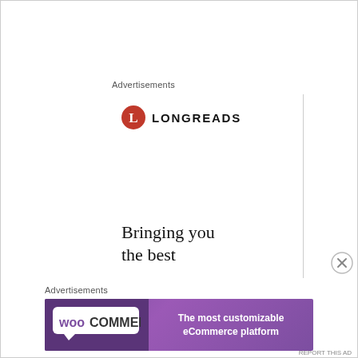Advertisements
[Figure (logo): Longreads advertisement with red circle logo and 'LONGREADS' text, and body text 'Bringing you the best']
Advertisements
[Figure (logo): WooCommerce advertisement banner: purple background with WooCommerce logo on left and text 'The most customizable eCommerce platform' on right]